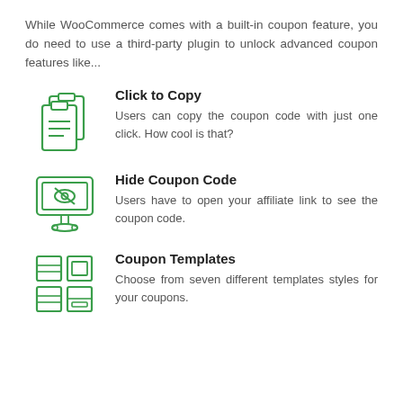While WooCommerce comes with a built-in coupon feature, you do need to use a third-party plugin to unlock advanced coupon features like...
[Figure (illustration): Green outline icon of two clipboard/copy documents stacked]
Click to Copy
Users can copy the coupon code with just one click. How cool is that?
[Figure (illustration): Green outline icon of a monitor/screen with a crossed eye symbol representing hidden content]
Hide Coupon Code
Users have to open your affiliate link to see the coupon code.
[Figure (illustration): Green outline icon of a grid of four squares representing coupon templates]
Coupon Templates
Choose from seven different templates styles for your coupons.